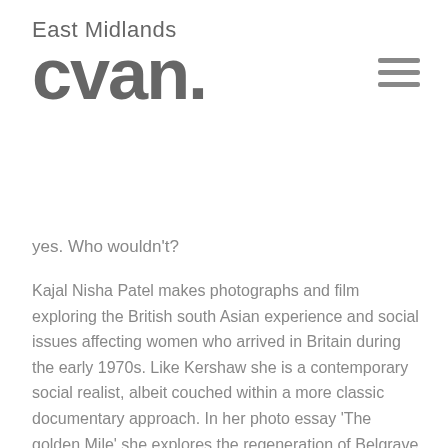East Midlands cvan
yes. Who wouldn't?
Kajal Nisha Patel makes photographs and film exploring the British south Asian experience and social issues affecting women who arrived in Britain during the early 1970s. Like Kershaw she is a contemporary social realist, albeit couched within a more classic documentary approach. In her photo essay 'The golden Mile' she explores the regeneration of Belgrave Road, Leicester – subsequently renamed the 'Golden Mile' by Indian workers who moved to the UK to escape Idi Armin's regime in Uganda. She has created stunning photographs of festivals, many which focus on women wearing a fashion fusion between east and west.